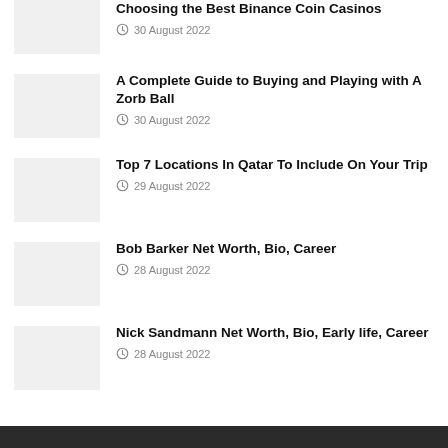Choosing the Best Binance Coin Casinos — 30 August 2022
A Complete Guide to Buying and Playing with A Zorb Ball — 30 August 2022
Top 7 Locations In Qatar To Include On Your Trip — 29 August 2022
Bob Barker Net Worth, Bio, Career — 28 August 2022
Nick Sandmann Net Worth, Bio, Early life, Career — 28 August 2022